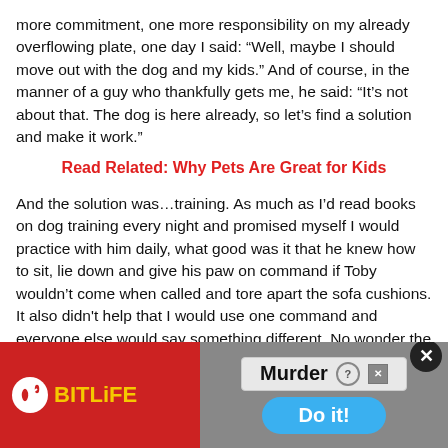more commitment, one more responsibility on my already overflowing plate, one day I said: “Well, maybe I should move out with the dog and my kids.” And of course, in the manner of a guy who thankfully gets me, he said: “It’s not about that. The dog is here already, so let’s find a solution and make it work.”
Read Related: Why Pets Are Great for Kids
And the solution was…training. As much as I’d read books on dog training every night and promised myself I would practice with him daily, what good was it that he knew how to sit, lie down and give his paw on command if Toby wouldn’t come when called and tore apart the sofa cushions. It also didn’t help that I would use one command and everyone else would say something different. No wonder the dog was confused and acting out!
[Figure (screenshot): Advertisement banner showing BitLife app logo on red background on left, and 'Murder Do it!' text with blue button on right. A close button (X in black circle) appears in top right.]